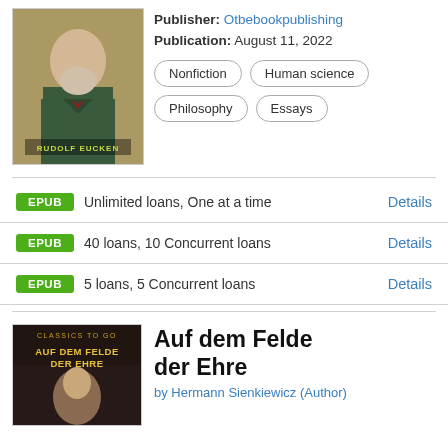[Figure (photo): Book cover showing a bearded man in formal attire, with text 'RUDOLF EUCKEN' on the cover]
Publisher: Otbebookpublishing
Publication: August 11, 2022
Nonfiction
Human science
Philosophy
Essays
EPUB  Unlimited loans, One at a time  Details
EPUB  40 loans, 10 Concurrent loans  Details
EPUB  5 loans, 5 Concurrent loans  Details
[Figure (photo): Book cover with dark background and text 'CLASSICS TO GO', 'AUF DEM FELDE DER EHRE', showing a portrait]
Auf dem Felde der Ehre
by Hermann Sienkiewicz (Author)